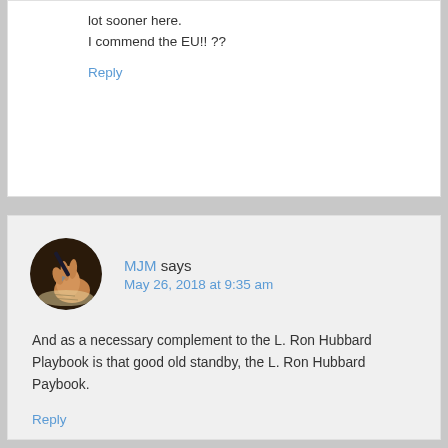lot sooner here.
I commend the EU!! ??
Reply
MJM says
May 26, 2018 at 9:35 am
And as a necessary complement to the L. Ron Hubbard Playbook is that good old standby, the L. Ron Hubbard Paybook.
Reply